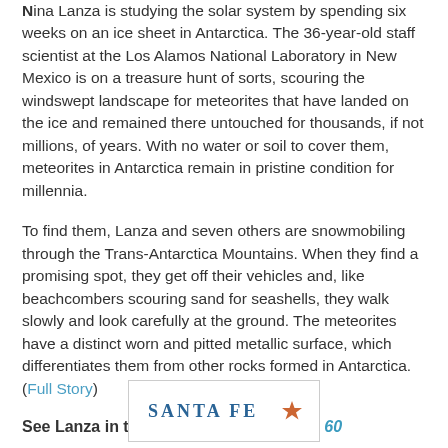Nina Lanza is studying the solar system by spending six weeks on an ice sheet in Antarctica. The 36-year-old staff scientist at the Los Alamos National Laboratory in New Mexico is on a treasure hunt of sorts, scouring the windswept landscape for meteorites that have landed on the ice and remained there untouched for thousands, if not millions, of years. With no water or soil to cover them, meteorites in Antarctica remain in pristine condition for millennia.
To find them, Lanza and seven others are snowmobiling through the Trans-Antarctica Mountains. When they find a promising spot, they get off their vehicles and, like beachcombers scouring sand for seashells, they walk slowly and look carefully at the ground. The meteorites have a distinct worn and pitted metallic surface, which differentiates them from other rocks formed in Antarctica. (Full Story)
See Lanza in this episode of Science in 60
[Figure (logo): Santa Fe logo with decorative icon in a bordered box]